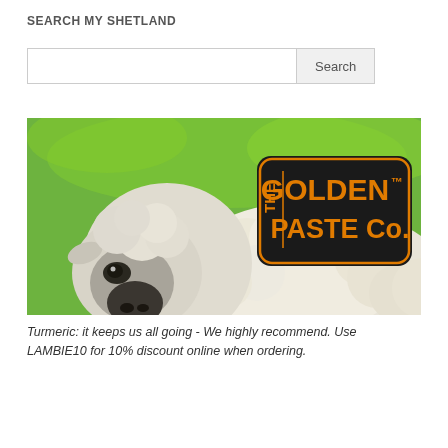SEARCH MY SHETLAND
[Figure (illustration): Advertisement image for The Golden Paste Co. featuring a close-up of a fluffy Shetland sheep looking at the camera with a bright green grassy background. The right side of the image features a black rounded-rectangle logo with orange text reading 'THE GOLDEN™ PASTE Co.']
Turmeric: it keeps us all going - We highly recommend. Use LAMBIE10 for 10% discount online when ordering.